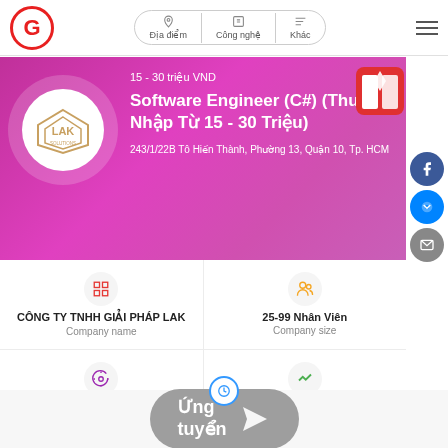[Figure (screenshot): Job listing page screenshot showing a Software Engineer (C#) position at CÔNG TY TNHH GIẢI PHÁP LAK with salary 15-30 triệu VND, address in HCM, company info grid, and apply button.]
15 - 30 triệu VND
Software Engineer (C#) (Thu Nhập Từ 15 - 30 Triệu)
243/1/22B Tô Hiến Thành, Phường 13, Quận 10, Tp. HCM
CÔNG TY TNHH GIẢI PHÁP LAK
Company name
25-99 Nhân Viên
Company size
Software/Product
Job category
2 Years
Experienced level
Ứng tuyển